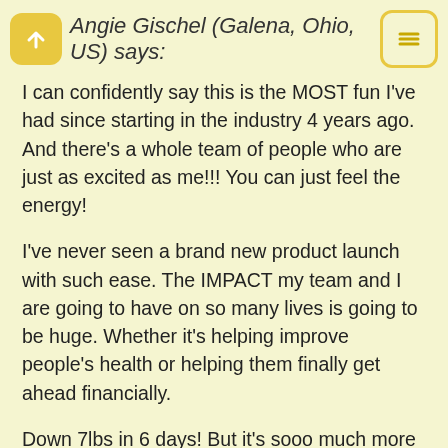Angie Gischel (Galena, Ohio, US) says:
I can confidently say this is the MOST fun I've had since starting in the industry 4 years ago. And there's a whole team of people who are just as excited as me!!! You can just feel the energy!
I've never seen a brand new product launch with such ease. The IMPACT my team and I are going to have on so many lives is going to be huge. Whether it's helping improve people's health or helping them finally get ahead financially.
Down 7lbs in 6 days! But it's sooo much more than that.
I feel amazing! I wake up ready to take on the day and I'm actually looking forward to going clothes